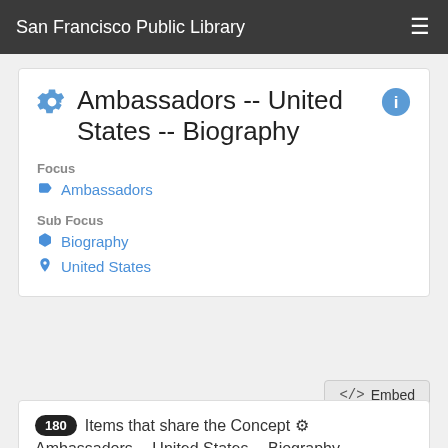San Francisco Public Library
Ambassadors -- United States -- Biography
Focus
Ambassadors
Sub Focus
Biography
United States
180 Items that share the Concept Ambassadors -- United States -- Biography